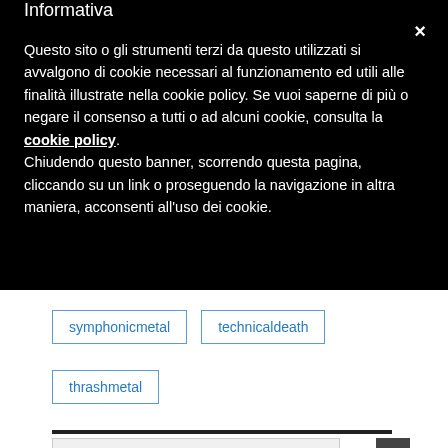Informativa
Questo sito o gli strumenti terzi da questo utilizzati si avvalgono di cookie necessari al funzionamento ed utili alle finalità illustrate nella cookie policy. Se vuoi saperne di più o negare il consenso a tutti o ad alcuni cookie, consulta la cookie policy.
Chiudendo questo banner, scorrendo questa pagina, cliccando su un link o proseguendo la navigazione in altra maniera, acconsenti all'uso dei cookie.
symphonicmetal
technicaldeath
thrashmetal